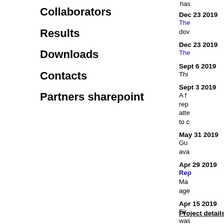Collaborators
Results
Downloads
Contacts
Partners sharepoint
has
Dec 23 2019 - The... dow...
Dec 23 2019 - The...
Sept 6 2019 - This...
Sept 3 2019 - A f... rep... atte... to c...
May 31 2019 - Gu... ava...
Apr 29 2019 - Re... Ma... age...
Apr 15 2019 - Fir... was...
Apr 4 2019 - Ne...
More news and ever...
Project details on E...